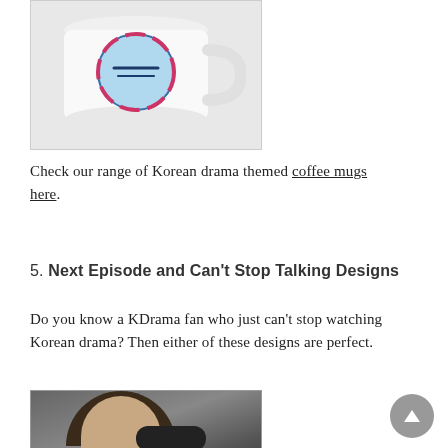[Figure (photo): White coffee mug with Korean drama themed design featuring blue and pink circular logo]
Check our range of Korean drama themed coffee mugs here.
5. Next Episode and Can't Stop Talking Designs
Do you know a KDrama fan who just can't stop watching Korean drama? Then either of these designs are perfect.
[Figure (photo): Young woman with sunglasses wearing a black t-shirt, posed against a concrete wall background]